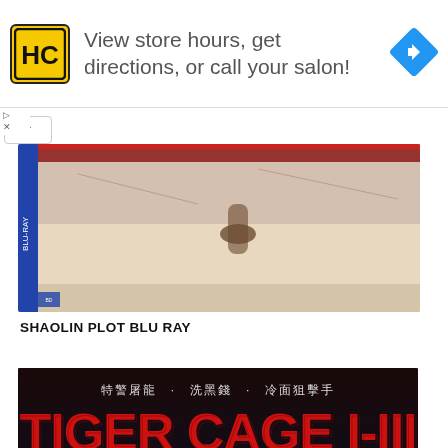[Figure (other): Advertisement banner: HC logo (yellow square with black H C letters), text 'View store hours, get directions, or call your salon!', and a blue navigation arrow diamond icon on the right]
[Figure (photo): Shaolin Plot Blu Ray product image - a blu-ray disc box/case with a scene from the movie showing a figure in a sandy/dusty outdoor setting]
SHAOLIN PLOT BLU RAY
[Figure (photo): Tiger Cage I-III movie poster on dark/black background. Chinese text at top reads: 特警屠龍 · 洗黑錢 · 冷面狙擊手. Large red bold title text: TIGER CAGE I-III. Shows action movie characters including male lead holding a weapon and female characters.]